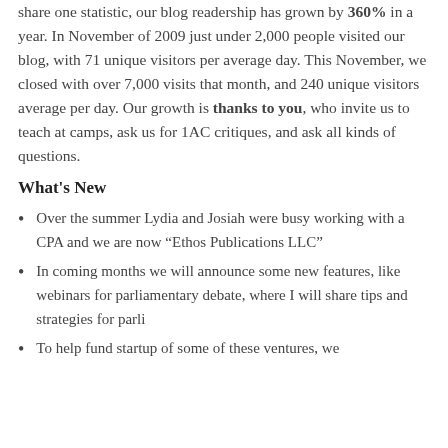share one statistic, our blog readership has grown by 360% in a year. In November of 2009 just under 2,000 people visited our blog, with 71 unique visitors per average day. This November, we closed with over 7,000 visits that month, and 240 unique visitors average per day. Our growth is thanks to you, who invite us to teach at camps, ask us for 1AC critiques, and ask all kinds of questions.
What's New
Over the summer Lydia and Josiah were busy working with a CPA and we are now “Ethos Publications LLC”
In coming months we will announce some new features, like webinars for parliamentary debate, where I will share tips and strategies for parli
To help fund startup of some of these ventures, we